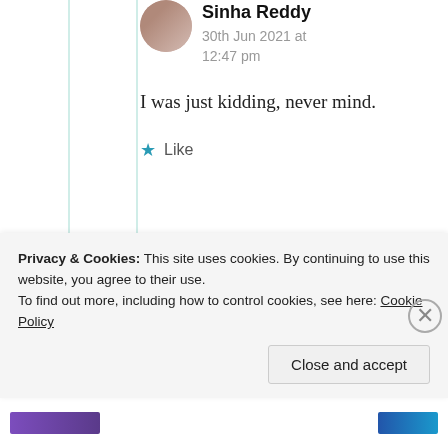Sinha Reddy
30th Jun 2021 at 12:47 pm
I was just kidding, never mind.
★ Like
Samridhi
Privacy & Cookies: This site uses cookies. By continuing to use this website, you agree to their use. To find out more, including how to control cookies, see here: Cookie Policy
Close and accept